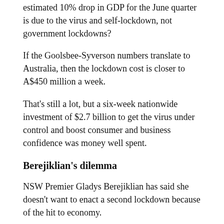estimated 10% drop in GDP for the June quarter is due to the virus and self-lockdown, not government lockdowns?
If the Goolsbee-Syverson numbers translate to Australia, then the lockdown cost is closer to A$450 million a week.
That's still a lot, but a six-week nationwide investment of $2.7 billion to get the virus under control and boost consumer and business confidence was money well spent.
Berejiklian's dilemma
NSW Premier Gladys Berejiklian has said she doesn't want to enact a second lockdown because of the hit to economy.
If the current outbreak can be dealt with through rapid contract tracing, testing and isolation, this may be wise.
But if the number of daily cases gets beyond a manageable point, a lockdown might be the only way to stop the spread of the virus.
The best evidence to date shows we cannot have a well-functioning economy with COVID-19 running rampant. That leads